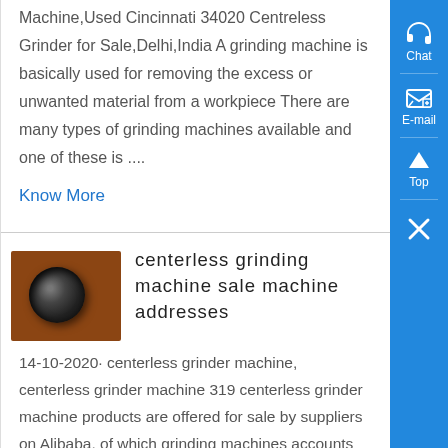Machine,Used Cincinnati 34020 Centreless Grinder for Sale,Delhi,India A grinding machine is basically used for removing the excess or unwanted material from a workpiece There are many types of grinding machines available and one of these is ....
Know More
[Figure (photo): Thumbnail photo of a metal workpiece with a round hole/bore, brownish metallic surface, centerless grinding machine part]
centerless grinding machine sale machine addresses
14-10-2020· centerless grinder machine, centerless grinder machine 319 centerless grinder machine products are offered for sale by suppliers on Alibaba, of which grinding machines accounts for 72%, polisher